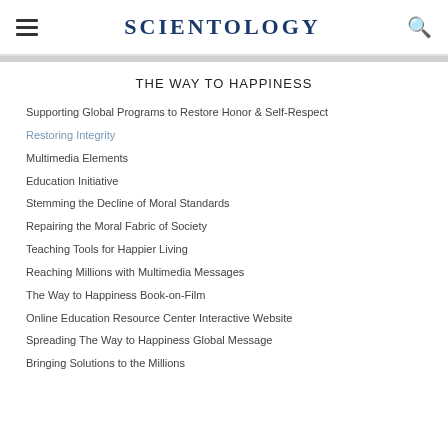SCIENTOLOGY
THE WAY TO HAPPINESS
Supporting Global Programs to Restore Honor & Self-Respect
Restoring Integrity
Multimedia Elements
Education Initiative
Stemming the Decline of Moral Standards
Repairing the Moral Fabric of Society
Teaching Tools for Happier Living
Reaching Millions with Multimedia Messages
The Way to Happiness Book-on-Film
Online Education Resource Center Interactive Website
Spreading The Way to Happiness Global Message
Bringing Solutions to the Millions